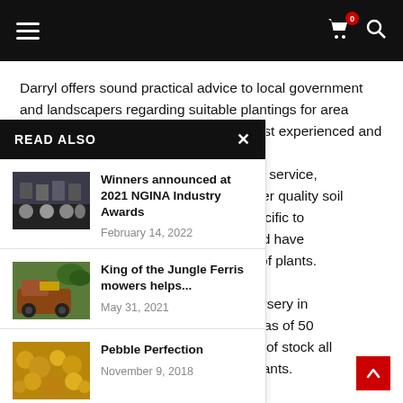Navigation bar with hamburger menu, cart icon (0 items), and search icon
Darryl offers sound practical advice to local government and landscapers regarding suitable plantings for area development on his vast experienced and
READ ALSO
Winners announced at 2021 NGINA Industry Awards — February 14, 2022
King of the Jungle Ferris mowers helps... — May 31, 2021
Pebble Perfection — November 9, 2018
self on customer service, oducts. They offer quality soil gs and bulk, specific to hipping rates and have nd transporting of plants. rgest tropical nursery in h production areas of 50 nd a wide range of stock all ns and indoor plants.